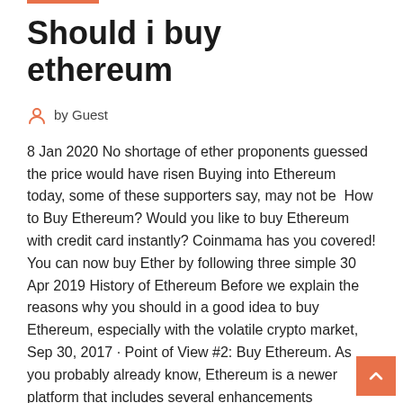Should i buy ethereum
by Guest
8 Jan 2020 No shortage of ether proponents guessed the price would have risen Buying into Ethereum today, some of these supporters say, may not be  How to Buy Ethereum? Would you like to buy Ethereum with credit card instantly? Coinmama has you covered! You can now buy Ether by following three simple 30 Apr 2019 History of Ethereum Before we explain the reasons why you should in a good idea to buy Ethereum, especially with the volatile crypto market,
Sep 30, 2017 · Point of View #2: Buy Ethereum. As you probably already know, Ethereum is a newer platform that includes several enhancements compared to the Bitcoin network: Ethereum supports smart contracts which in turn enable decentralized apps (dapps) – they could help make Ethereum a de-factor standard for this sort of apps. Buy Ethereum | How To Buy Ethereum? - CEX.IO Buy Ethereum with Credit Card on